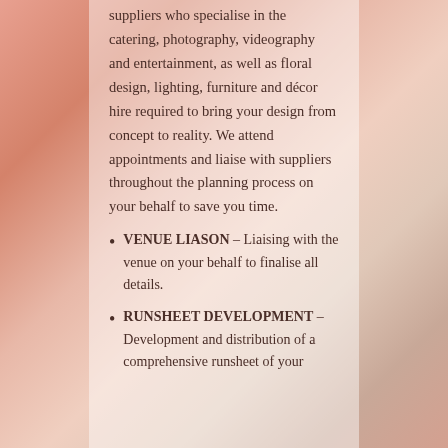suppliers who specialise in the catering, photography, videography and entertainment, as well as floral design, lighting, furniture and décor hire required to bring your design from concept to reality. We attend appointments and liaise with suppliers throughout the planning process on your behalf to save you time.
VENUE LIASON – Liaising with the venue on your behalf to finalise all details.
RUNSHEET DEVELOPMENT – Development and distribution of a comprehensive runsheet of your...